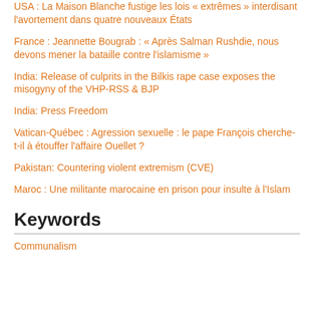USA : La Maison Blanche fustige les lois « extrêmes » interdisant l'avortement dans quatre nouveaux États
France : Jeannette Bougrab : « Après Salman Rushdie, nous devons mener la bataille contre l'islamisme »
India: Release of culprits in the Bilkis rape case exposes the misogyny of the VHP-RSS & BJP
India: Press Freedom
Vatican-Québec : Agression sexuelle : le pape François cherche-t-il à étouffer l'affaire Ouellet ?
Pakistan: Countering violent extremism (CVE)
Maroc : Une militante marocaine en prison pour insulte à l'Islam
Keywords
Communalism